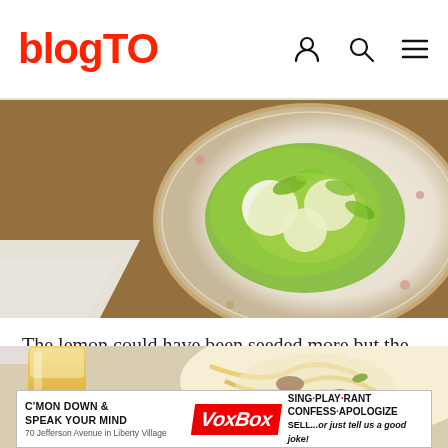blogTO
[Figure (photo): A white bowl with floral rim containing a dish with green herbs and creamy white elements on a wooden table]
The lemon could have been seeded more but the deep-fry created an interesting contrast, the whole dish crispy and indulgent yet light, served with a grassy edamame aioli.
[Figure (photo): A glass of golden beer and a bowl of pasta or noodle dish on a table]
[Figure (infographic): Advertisement banner: C'MON DOWN & SPEAK YOUR MIND VoxBox SING·PLAY·RANT CONFESS·APOLOGIZE SELL...or just tell us a good joke!]